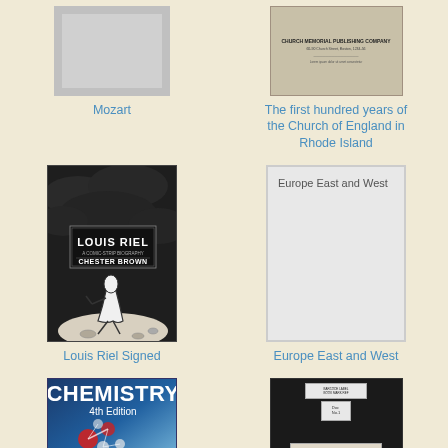[Figure (illustration): Book cover placeholder (gray) for Mozart]
Mozart
[Figure (illustration): Old document cover for The first hundred years of the Church of England in Rhode Island]
The first hundred years of the Church of England in Rhode Island
[Figure (illustration): Louis Riel comic book cover by Chester Brown, dark background with comic art]
Louis Riel Signed
[Figure (illustration): Placeholder cover for Europe East and West with text on gray background]
Europe East and West
[Figure (illustration): Chemistry 4th Edition textbook cover with blue molecular imagery]
[Figure (illustration): Dark book cover with library labels]